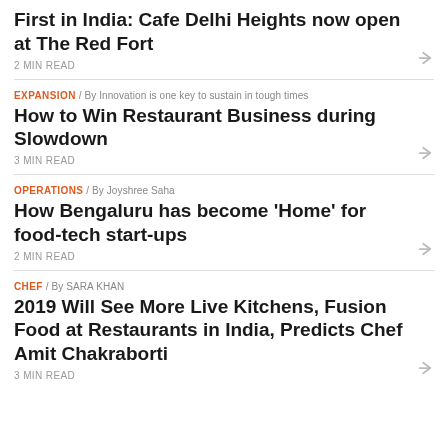First in India: Cafe Delhi Heights now open at The Red Fort
2 MIN READ
EXPANSION / By  Innovation is one key to sustain in tough times
How to Win Restaurant Business during Slowdown
3 MIN READ
OPERATIONS / By  Joyshree Saha
How Bengaluru has become 'Home' for food-tech start-ups
2 MIN READ
CHEF / By  SARA KHAN
2019 Will See More Live Kitchens, Fusion Food at Restaurants in India, Predicts Chef Amit Chakraborti
3 MIN READ